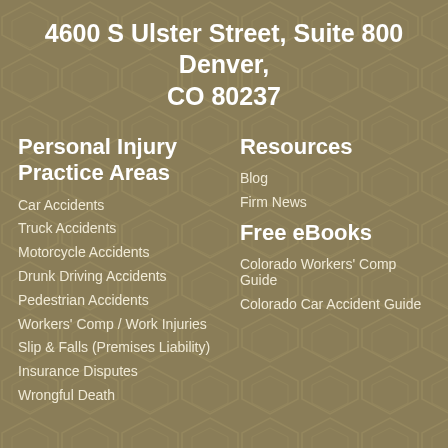4600 S Ulster Street, Suite 800 Denver, CO 80237
Personal Injury Practice Areas
Car Accidents
Truck Accidents
Motorcycle Accidents
Drunk Driving Accidents
Pedestrian Accidents
Workers' Comp / Work Injuries
Slip & Falls (Premises Liability)
Insurance Disputes
Wrongful Death
Resources
Blog
Firm News
Free eBooks
Colorado Workers' Comp Guide
Colorado Car Accident Guide